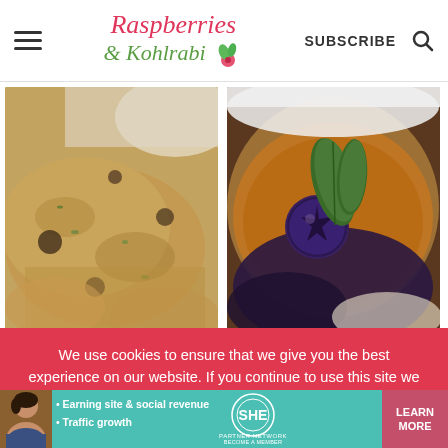Raspberries & Kohlrabi — SUBSCRIBE
[Figure (photo): Close-up of blueberry scones on a plate with white background]
[Figure (photo): Close-up of a blueberry creme brulee with a fresh green leaf on top]
We use cookies to ensure that we give you the best experience on our website. If you continue to use this site we will assume that you are happy with it.
[Figure (infographic): SHE Partner Network advertisement bar with woman photo, bullet points: Earning site & social revenue, Traffic growth, SHE Partner Network logo, LEARN MORE button]